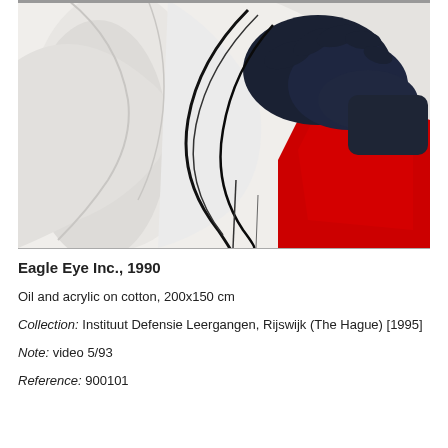[Figure (photo): Painting showing abstract forms with dark navy/black gloved hands holding curved wire or ribbon shapes against a white sculptural background with a red triangular element]
Eagle Eye Inc., 1990
Oil and acrylic on cotton, 200x150 cm
Collection: Instituut Defensie Leergangen, Rijswijk (The Hague) [1995]
Note: video 5/93
Reference: 900101